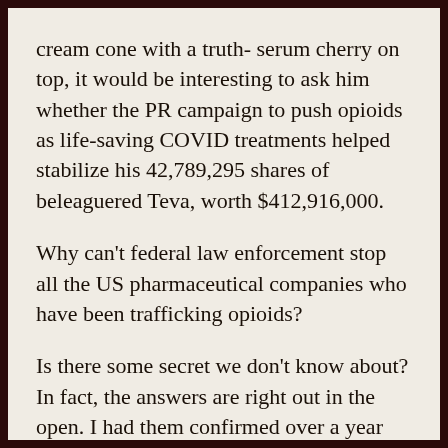cream cone with a truth- serum cherry on top, it would be interesting to ask him whether the PR campaign to push opioids as life-saving COVID treatments helped stabilize his 42,789,295 shares of beleaguered Teva, worth $412,916,000.
Why can't federal law enforcement stop all the US pharmaceutical companies who have been trafficking opioids?
Is there some secret we don't know about? In fact, the answers are right out in the open. I had them confirmed over a year ago, from a source inside federal law-enforcement. But talk about “open—” the Washington Post laid out the sordid story in detail. AND AS USUAL, THERE WAS NO FOLLOW-UP. The lobbyists...